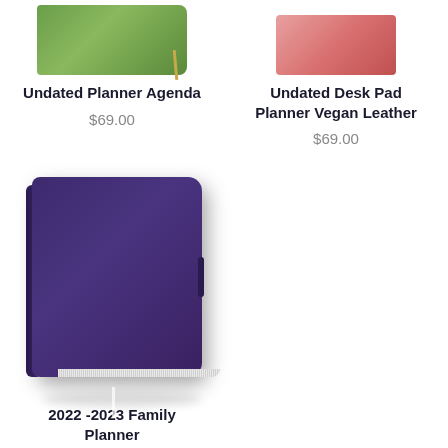[Figure (photo): Partial top view of a green Undated Planner Agenda book with gold ribbon bookmark]
Undated Planner Agenda
$69.00
[Figure (photo): Partial top view of a pink/red Undated Desk Pad Planner Vegan Leather product]
Undated Desk Pad Planner Vegan Leather
$69.00
[Figure (photo): Purple/navy hardcover 2022-2023 Family Planner notebook with rounded corners and ribbon bookmark]
2022 -2023 Family Planner
$69.00